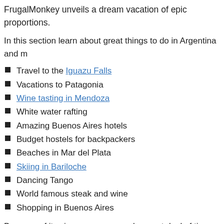FrugalMonkey unveils a dream vacation of epic proportions.
In this section learn about great things to do in Argentina and m
Travel to the Iguazu Falls
Vacations to Patagonia
Wine tasting in Mendoza
White water rafting
Amazing Buenos Aires hotels
Budget hostels for backpackers
Beaches in Mar del Plata
Skiing in Bariloche
Dancing Tango
World famous steak and wine
Shopping in Buenos Aires
Because of its size, you can spend a great deal of time traveling enjoying Argentina. Find out what to do if you plan on staying in Aires, or where to go if you have weeks to dedicate to a vacatio. Although a popular summer vacation destination, Argentina is famous for its South American ski resorts in Bariloche and Las